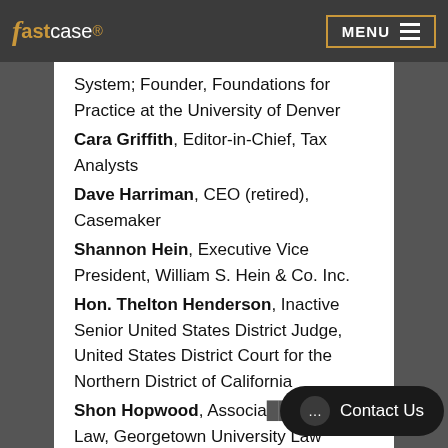fastcase MENU
System; Founder, Foundations for Practice at the University of Denver
Cara Griffith, Editor-in-Chief, Tax Analysts
Dave Harriman, CEO (retired), Casemaker
Shannon Hein, Executive Vice President, William S. Hein & Co. Inc.
Hon. Thelton Henderson, Inactive Senior United States District Judge, United States District Court for the Northern District of California
Shon Hopwood, Associate ... Law, Georgetown University Law Center